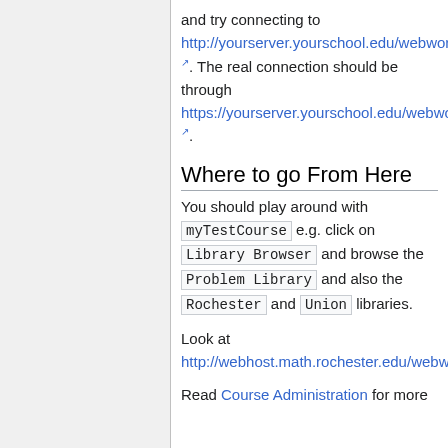and try connecting to http://yourserver.yourschool.edu/webwork2/. The real connection should be through https://yourserver.yourschool.edu/webwork2/.
Where to go From Here
You should play around with myTestCourse e.g. click on Library Browser and browse the Problem Library and also the Rochester and Union libraries.
Look at http://webhost.math.rochester.edu/webworkdocs/docs/courseadmin/usingwebwork
Read Course Administration for more